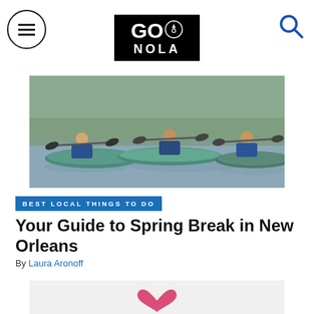GO NOLA — navigation header with menu and search icons
[Figure (photo): Four people wearing life jackets paddling blue kayaks on a calm waterway with green reeds in the background]
BEST LOCAL THINGS TO DO
Your Guide to Spring Break in New Orleans
By Laura Aronoff
[Figure (illustration): Heart/wings icon in pink/red at bottom of page]